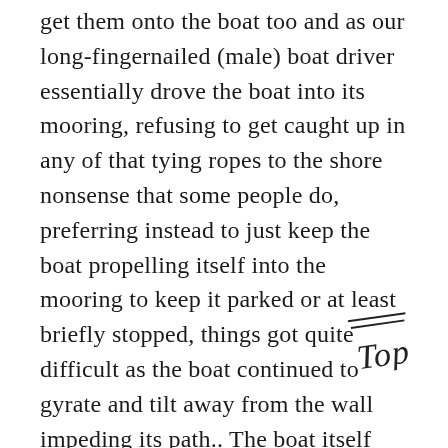get them onto the boat too and as our long-fingernailed (male) boat driver essentially drove the boat into its mooring, refusing to get caught up in any of that tying ropes to the shore nonsense that some people do, preferring instead to just keep the boat propelling itself into the mooring to keep it parked or at least briefly stopped, things got quite difficult as the boat continued to gyrate and tilt away from the wall impeding its path.. The boat itself was even smaller than before and to be honest, it was funny but I was more than happy to be off Ayutthaya in general was a cool place, it had temples, it had Chris giving out
[Figure (illustration): A handwritten cursive signature or annotation reading 'Top' with a line above it, positioned in the lower right area of the text block.]